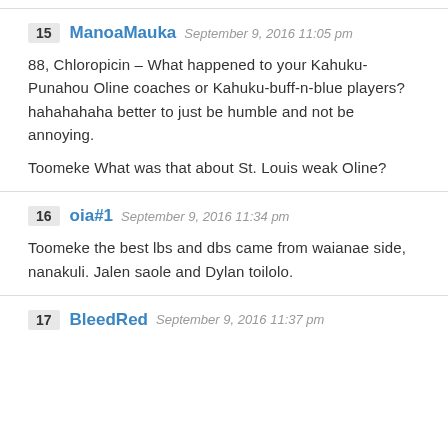15 ManoaMauka September 9, 2016 11:05 pm
88, Chloropicin – What happened to your Kahuku-Punahou Oline coaches or Kahuku-buff-n-blue players? hahahahaha better to just be humble and not be annoying.
Toomeke What was that about St. Louis weak Oline?
16 oia#1 September 9, 2016 11:34 pm
Toomeke the best lbs and dbs came from waianae side, nanakuli. Jalen saole and Dylan toilolo.
17 BleedRed September 9, 2016 11:37 pm